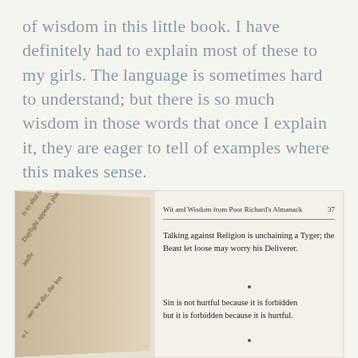of wisdom in this little book. I have definitely had to explain most of these to my girls. The language is sometimes hard to understand; but there is so much wisdom in those words that once I explain it, they are eager to tell of examples where this makes sense.
[Figure (photo): Photograph of an open book showing page 37 of 'Wit and Wisdom from Poor Richard's Almanack'. The right page shows two quotes: 'Talking against Religion is unchaining a Tyger; the Beast let loose may worry his Deliverer.' and 'Sin is not hurtful because it is forbidden but it is forbidden because it is hurtful.' The left page spine area shows partial text at an angle.]